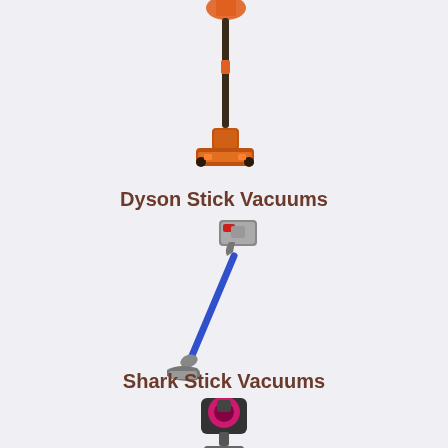[Figure (photo): Orange and dark colored stick vacuum cleaner, partially cropped at the top of the page]
Dyson Stick Vacuums
[Figure (photo): Blue and silver Dyson stick vacuum cleaner, angled diagonally]
Shark Stick Vacuums
[Figure (photo): Pink and dark colored Shark stick vacuum cleaner, partially visible at bottom of page]